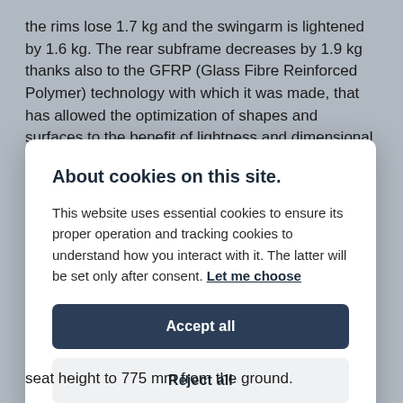the rims lose 1.7 kg and the swingarm is lightened by 1.6 kg. The rear subframe decreases by 1.9 kg thanks also to the GFRP (Glass Fibre Reinforced Polymer) technology with which it was made, that has allowed the optimization of shapes and surfaces to the benefit of lightness and dimensional compactness. The total weight saving is 10 kg compared to the
About cookies on this site.
This website uses essential cookies to ensure its proper operation and tracking cookies to understand how you interact with it. The latter will be set only after consent. Let me choose
Accept all
Reject all
seat height to 775 mm from the ground.